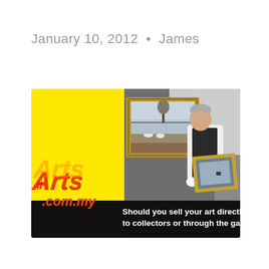January 10, 2012  •  James
[Figure (photo): Arts.com.my promotional banner image showing a painting on a gallery wall and a man in white gloves carrying a framed artwork, with yellow left panel featuring the Arts.com.my logo and black bottom bar with text 'Should you sell your art directly to collectors or through the gallery?']